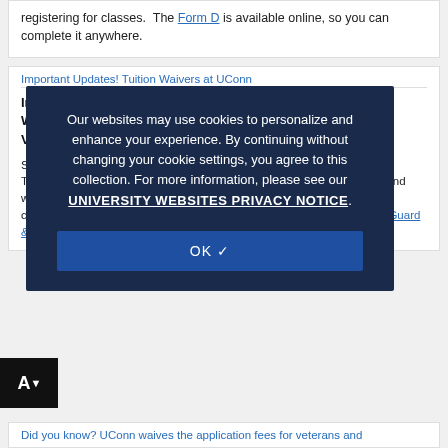registering for classes. The Form D is available online, so you can complete it anywhere.
Important Updates! Tuition Waivers at UConn
Important Updates: National Guard & State Veterans Tuition Waiver and NEW FORM D, AMENDED FORM D, and STATE VETERANS TUITION WAIVER FORMS
Since May ... waiver and the State Veterans Tuition Waiver can be used for ALL academic terms (including summer and winter sessions). Also, they can both be used at all approved degree and certificate ... requirements ... can be found under "Benefits" ... National Guard & State Veterans Tuition Waiver
Our websites may use cookies to personalize and enhance your experience. By continuing without changing your cookie settings, you agree to this collection. For more information, please see our UNIVERSITY WEBSITES PRIVACY NOTICE.
OK ✓
Did you know? UConn waives the application fees for veterans and